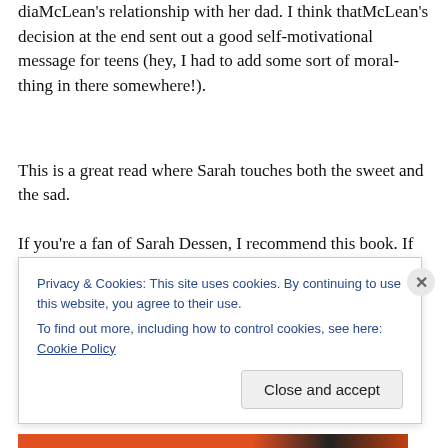diaMcLean's relationship with her dad. I think thatMcLean's decision at the end sent out a good self-motivational message for teens (hey, I had to add some sort of moral-thing in there somewhere!).
This is a great read where Sarah touches both the sweet and the sad.
If you're a fan of Sarah Dessen, I recommend this book. If
Privacy & Cookies: This site uses cookies. By continuing to use this website, you agree to their use.
To find out more, including how to control cookies, see here: Cookie Policy